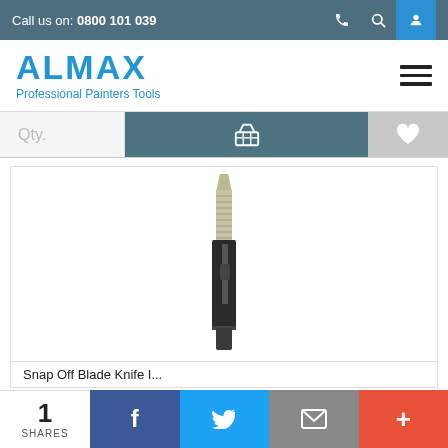Call us on: 0800 101 039
[Figure (logo): ALMAX Professional Painters Tools logo in blue]
Qty.
[Figure (photo): A black snap-off blade utility knife / cutter knife, oriented diagonally]
Snap Off Blade Knife I...
1 SHARES